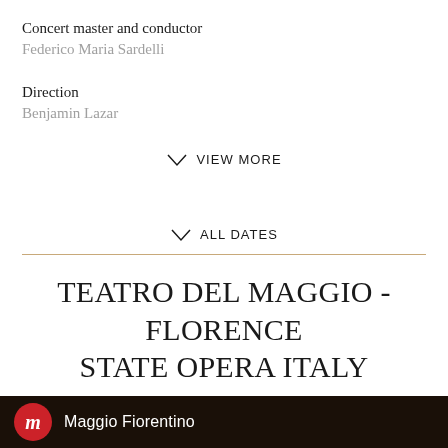Concert master and conductor
Federico Maria Sardelli
Direction
Benjamin Lazar
VIEW MORE
ALL DATES
TEATRO DEL MAGGIO - FLORENCE STATE OPERA ITALY
Maggio Fiorentino